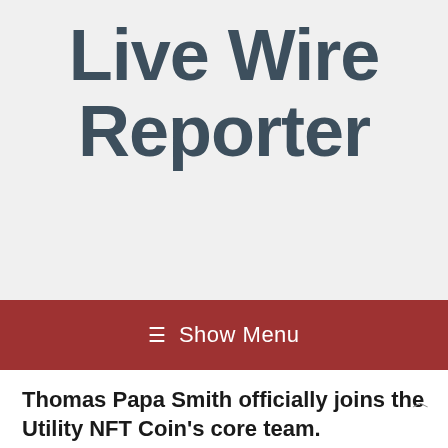Live Wire Reporter
Show Menu
Thomas Papa Smith officially joins the Utility NFT Coin's core team.